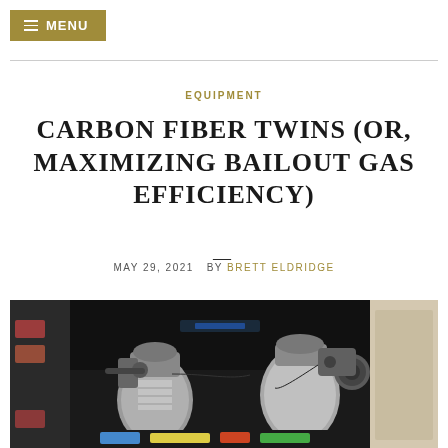≡ MENU
EQUIPMENT
CARBON FIBER TWINS (OR, MAXIMIZING BAILOUT GAS EFFICIENCY)
MAY 29, 2021  BY BRETT ELDRIDGE
[Figure (photo): Photo of two carbon fiber scuba diving tanks with regulators, photographed in what appears to be a garage or storage area. The tanks have valves and regulators attached, with various dive gear visible in the background.]